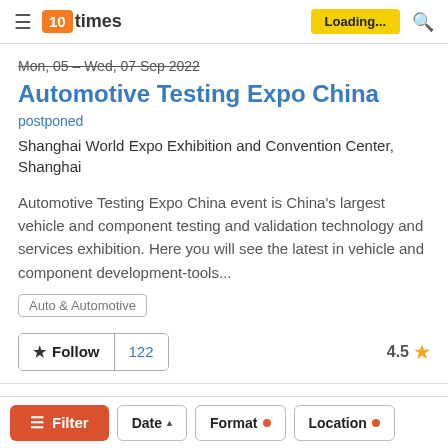10times — Loading...
Mon, 05 – Wed, 07 Sep 2022
Automotive Testing Expo China
postponed
Shanghai World Expo Exhibition and Convention Center, Shanghai
Automotive Testing Expo China event is China's largest vehicle and component testing and validation technology and services exhibition. Here you will see the latest in vehicle and component development-tools...
Auto & Automotive
★ Follow  122   4.5 ★
Filter  Date ▲  Format •  Location •